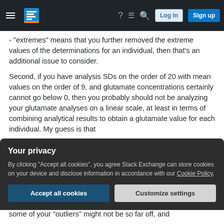Stack Exchange navigation bar with hamburger menu, logo, help, chat, search icons, Log in and Sign up buttons
- "extremes" means that you further removed the extreme values of the determinations for an individual, then that's an additional issue to consider.
Second, if you have analysis SDs on the order of 20 with mean values on the order of 9, and glutamate concentrations certainly cannot go below 0, then you probably should not be analyzing your glutamate analyses on a linear scale, at least in terms of combining analytical results to obtain a glutamate value for each individual. My guess is that
Your privacy
By clicking "Accept all cookies", you agree Stack Exchange can store cookies on your device and disclose information in accordance with our Cookie Policy.
Accept all cookies   Customize settings
some of your "outliers" might not be so far off, and